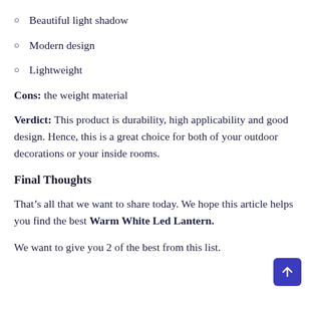Beautiful light shadow
Modern design
Lightweight
Cons: the weight material
Verdict: This product is durability, high applicability and good design. Hence, this is a great choice for both of your outdoor decorations or your inside rooms.
Final Thoughts
That’s all that we want to share today. We hope this article helps you find the best Warm White Led Lantern.
We want to give you 2 of the best from this list.